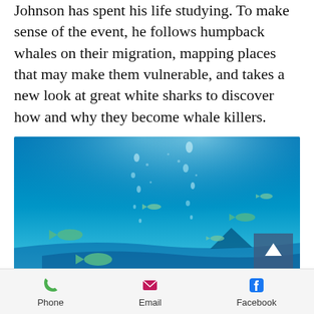Johnson has spent his life studying. To make sense of the event, he follows humpback whales on their migration, mapping places that may make them vulnerable, and takes a new look at great white sharks to discover how and why they become whale killers.
[Figure (photo): Underwater ocean scene with blue water, bubbles rising, and several fish and a shark visible near the bottom]
Phone  Email  Facebook